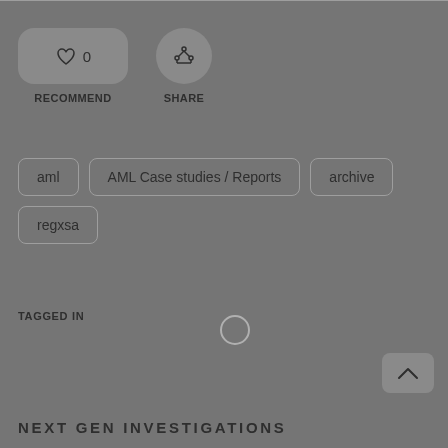[Figure (screenshot): Recommend button with heart icon and count 0, and Share button with share/fork icon]
RECOMMEND
SHARE
aml
AML Case studies / Reports
archive
regxsa
TAGGED IN
NEXT GEN INVESTIGATIONS